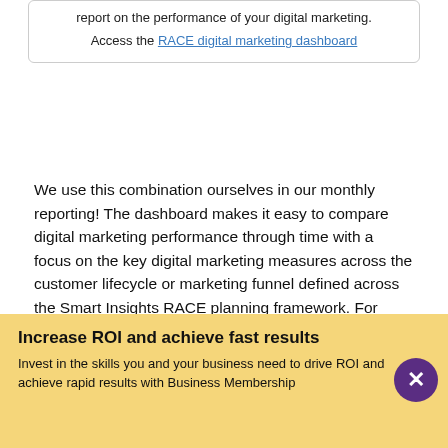report on the performance of your digital marketing.
Access the RACE digital marketing dashboard
We use this combination ourselves in our monthly reporting! The dashboard makes it easy to compare digital marketing performance through time with a focus on the key digital marketing measures across the customer lifecycle or marketing funnel defined across the Smart Insights RACE planning framework. For example, you can compare year-on-year or compared to the previous reporting period.
[Figure (screenshot): Screenshot of The Smart Insights RACE Digital Marketing Dashboard showing date range 09/01/2016 - 11/30/2016 compared to 06/01/2016 - 08/31/2016 with a Reach section highlighted in green.]
Increase ROI and achieve fast results
Invest in the skills you and your business need to drive ROI and achieve rapid results with Business Membership